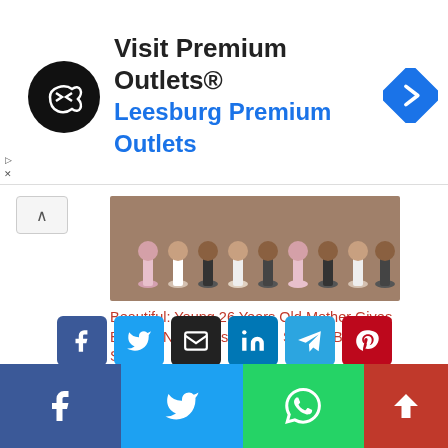[Figure (infographic): Advertisement banner: Visit Premium Outlets® Leesburg Premium Outlets with black circular logo and blue diamond navigation icon]
[Figure (photo): Photo of young children in ballet/dance outfits sitting in a row]
Beautiful: Young 26 Years Old Mother Gives Birth To Nonuplets In Mali, Shares Beautiful Story
June 8, 2022
In "Family Life"
[Figure (infographic): Social share buttons: Facebook, Twitter, Email, LinkedIn, Telegram, Pinterest]
<< Creativity:
Joyful Moment
[Figure (infographic): Bottom navigation bar with Facebook, Twitter, WhatsApp share buttons and scroll-to-top button]